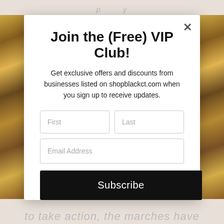Join the (Free) VIP Club!
Get exclusive offers and discounts from businesses listed on shopblackct.com when you sign up to receive updates.
First | Last | Email Address | Subscribe